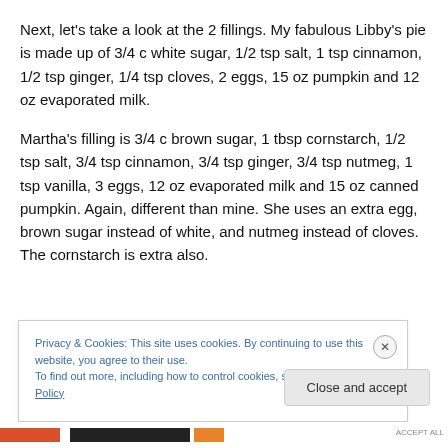Next, let's take a look at the 2 fillings. My fabulous Libby's pie is made up of 3/4 c white sugar, 1/2 tsp salt, 1 tsp cinnamon, 1/2 tsp ginger, 1/4 tsp cloves, 2 eggs, 15 oz pumpkin and 12 oz evaporated milk.
Martha's filling is 3/4 c brown sugar, 1 tbsp cornstarch, 1/2 tsp salt, 3/4 tsp cinnamon, 3/4 tsp ginger, 3/4 tsp nutmeg, 1 tsp vanilla, 3 eggs, 12 oz evaporated milk and 15 oz canned pumpkin. Again, different than mine. She uses an extra egg, brown sugar instead of white, and nutmeg instead of cloves. The cornstarch is extra also.
Privacy & Cookies: This site uses cookies. By continuing to use this website, you agree to their use.
To find out more, including how to control cookies, see here: Cookie Policy
Close and accept